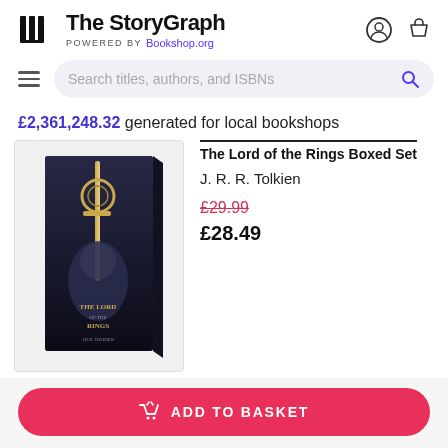The StoryGraph POWERED BY Bookshop.org
Search titles, authors, and ISBNs
£2,361,248.32 generated for local bookshops
[Figure (photo): Book product image: The Lord of the Rings Boxed Set box set with dark fantasy cover art]
The Lord of the Rings Boxed Set
J. R. R. Tolkien
£29.99
£28.49
ADD TO BASKET